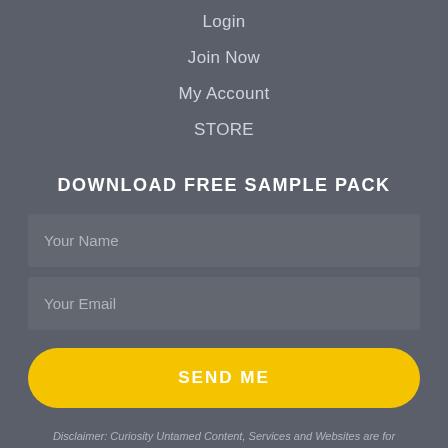Login
Join Now
My Account
STORE
DOWNLOAD FREE SAMPLE PACK
Your Name
Your Email
SEND ME
Disclaimer: Curiosity Untamed Content, Services and Websites are for